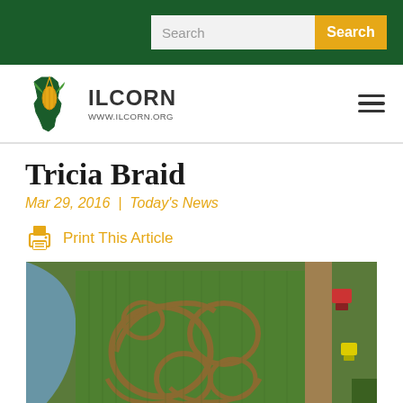Search | Search
[Figure (logo): ILCORN logo with Illinois state outline and corn, www.ilcorn.org]
Tricia Braid
Mar 29, 2016  |  Today's News
Print This Article
[Figure (photo): Aerial photograph of a corn field maze with decorative patterns cut into a green crop field, showing a river on the left and farm equipment on the right.]